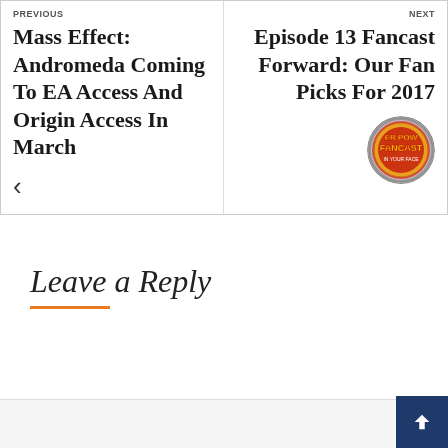PREVIOUS
Mass Effect: Andromeda Coming To EA Access And Origin Access In March
<
NEXT
Episode 13 Fancast Forward: Our Fan Picks For 2017
[Figure (logo): Circular fancast badge logo with orange and yellow text reading 'ER POW FANCAST' on a stylized background]
Leave a Reply